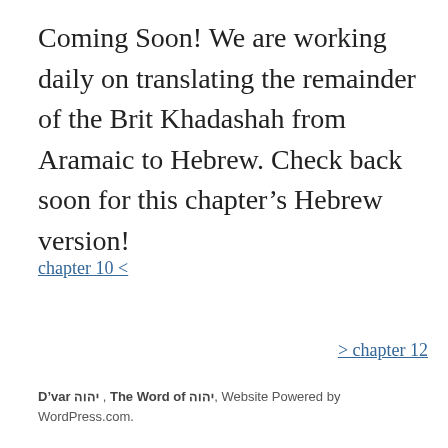Coming Soon! We are working daily on translating the remainder of the Brit Khadashah from Aramaic to Hebrew. Check back soon for this chapter's Hebrew version!
chapter 10 <
> chapter 12
D'var יהוה , The Word of יהוה, Website Powered by WordPress.com.